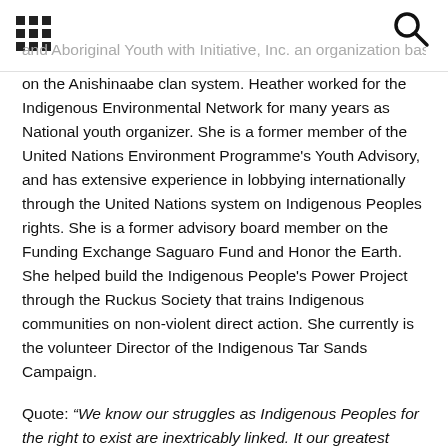[grid icon] [search icon]
and Aboriginal Youth with Initiative, Inc. an organization based on the Anishinaabe clan system. Heather worked for the Indigenous Environmental Network for many years as National youth organizer. She is a former member of the United Nations Environment Programme's Youth Advisory, and has extensive experience in lobbying internationally through the United Nations system on Indigenous Peoples rights. She is a former advisory board member on the Funding Exchange Saguaro Fund and Honor the Earth. She helped build the Indigenous People's Power Project through the Ruckus Society that trains Indigenous communities on non-violent direct action. She currently is the volunteer Director of the Indigenous Tar Sands Campaign.
Quote: “We know our struggles as Indigenous Peoples for the right to exist are inextricably linked. It our greatest strength. It is also our responsibility to support each other. Many